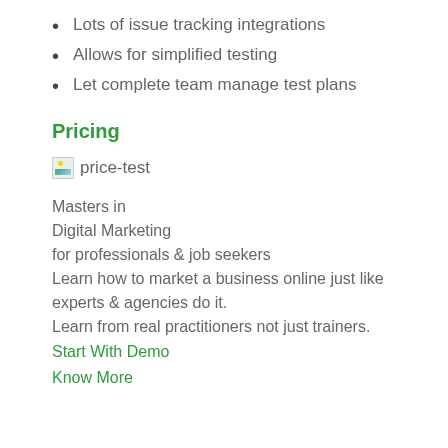Lots of issue tracking integrations
Allows for simplified testing
Let complete team manage test plans
Pricing
[Figure (other): Broken image placeholder labeled 'price-test']
Masters in
Digital Marketing
for professionals & job seekers
Learn how to market a business online just like experts & agencies do it.
Learn from real practitioners not just trainers.
Start With Demo
Know More